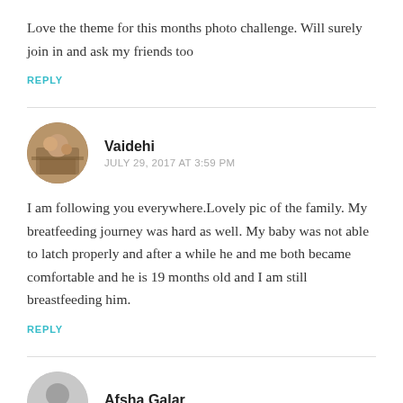Love the theme for this months photo challenge. Will surely join in and ask my friends too
REPLY
Vaidehi
JULY 29, 2017 AT 3:59 PM
I am following you everywhere.Lovely pic of the family. My breatfeeding journey was hard as well. My baby was not able to latch properly and after a while he and me both became comfortable and he is 19 months old and I am still breastfeeding him.
REPLY
Afsha Galar